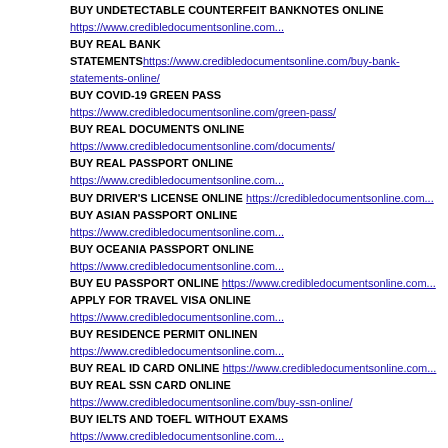BUY UNDETECTABLE COUNTERFEIT BANKNOTES ONLINE
https://www.credibledocumentsonline.com...
BUY REAL BANK STATEMENTShttps://www.credibledocumentsonline.com/buy-bank-statements-online/
BUY COVID-19 GREEN PASS https://www.credibledocumentsonline.com/green-pass/
BUY REAL DOCUMENTS ONLINE
https://www.credibledocumentsonline.com/documents/
BUY REAL PASSPORT ONLINE https://www.credibledocumentsonline.com...
BUY DRIVER'S LICENSE ONLINE https://credibledocumentsonline.com...
BUY ASIAN PASSPORT ONLINE https://www.credibledocumentsonline.com...
BUY OCEANIA PASSPORT ONLINE https://www.credibledocumentsonline.com...
BUY EU PASSPORT ONLINE https://www.credibledocumentsonline.com...
APPLY FOR TRAVEL VISA ONLINE https://www.credibledocumentsonline.com...
BUY RESIDENCE PERMIT ONLINEN https://www.credibledocumentsonline.com...
BUY REAL ID CARD ONLINE https://www.credibledocumentsonline.com...
BUY REAL SSN CARD ONLINE https://www.credibledocumentsonline.com/buy-ssn-online/
BUY IELTS AND TOEFL WITHOUT EXAMS
https://www.credibledocumentsonline.com...
BUY UNDETECTABLE COUNTERFEIT BANKNOTES ONLINE
https://www.credibledocumentsonline.com...
BUY REAL BANK STATEMENTShttps://www.credibledocumentsonline.com/buy-bank-statements-online/